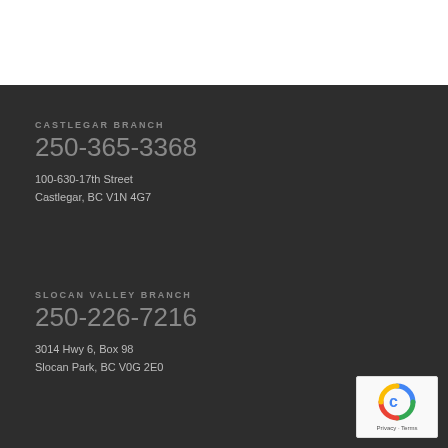CASTLEGAR BRANCH
250-365-3368
100-630-17th Street
Castlegar, BC V1N 4G7
SLOCAN VALLEY BRANCH
250-226-7216
3014 Hwy 6, Box 98
Slocan Park, BC V0G 2E0